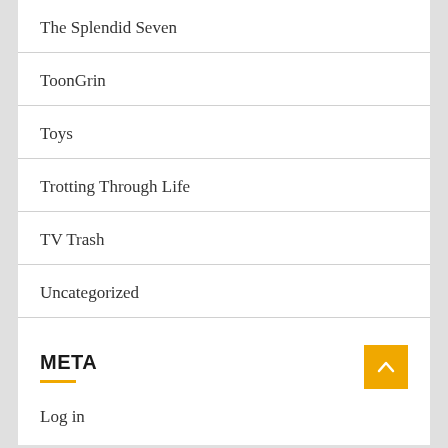The Splendid Seven
ToonGrin
Toys
Trotting Through Life
TV Trash
Uncategorized
Vaulting
META
Log in